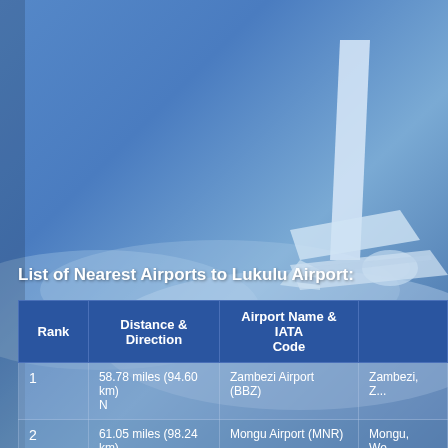[Figure (photo): Aerial background photo showing a commercial airplane tail and wings with blue sky and clouds below]
List of Nearest Airports to Lukulu Airport:
| Rank | Distance & Direction | Airport Name & IATA Code |  |
| --- | --- | --- | --- |
| 1 | 58.78 miles (94.60 km) N | Zambezi Airport (BBZ) | Zambezi, Z... |
| 2 | 61.05 miles (98.24 km) S | Mongu Airport (MNR) | Mongu, We... |
| 3 | 67.03 miles (107.87 | Kalabo Airport (KLB) | Kalabo... |